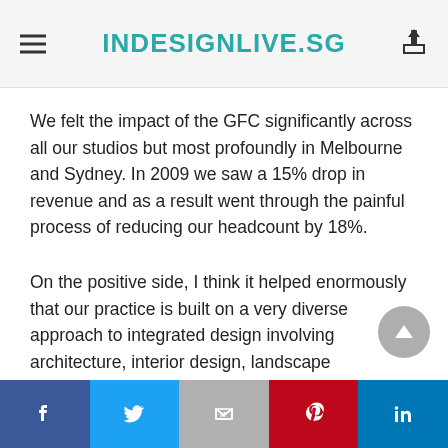INDESIGNLIVE.SG
We felt the impact of the GFC significantly across all our studios but most profoundly in Melbourne and Sydney. In 2009 we saw a 15% drop in revenue and as a result went through the painful process of reducing our headcount by 18%.
On the positive side, I think it helped enormously that our practice is built on a very diverse approach to integrated design involving architecture, interior design, landscape architecture, planning and urban design, across multiple sectors within both the public and private spheres.
I also attribute a great deal of our continuing success to
Facebook | Twitter | Gmail | Pinterest | LinkedIn